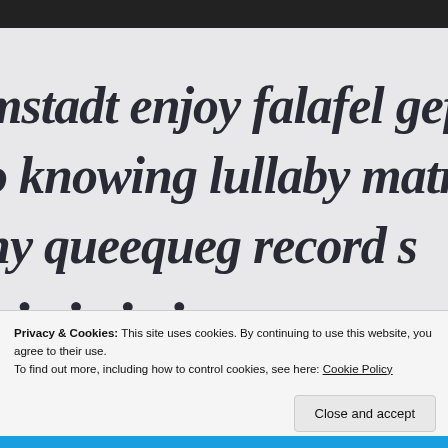[Figure (photo): Close-up photograph of decorative italic/blackletter style typography on white paper. Three lines of large decorative text visible: 'mstadt enjoy falafel gef', 'o knowing lullaby matr', 'hy queequeg record s'. A fourth partial line of smaller text is also partially visible at the bottom of the photo.]
Privacy & Cookies: This site uses cookies. By continuing to use this website, you agree to their use.
To find out more, including how to control cookies, see here: Cookie Policy
Close and accept